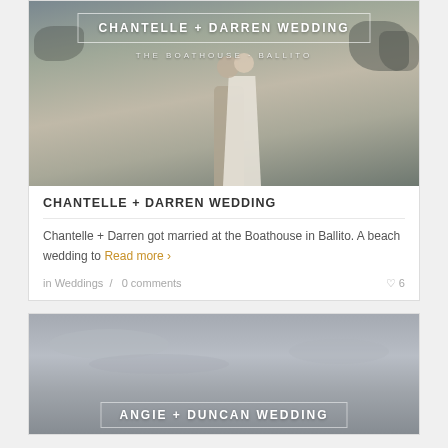[Figure (photo): Wedding photo of couple at beach - Chantelle + Darren Wedding at The Boathouse, Ballito. Overlaid text title in white with border box.]
CHANTELLE + DARREN WEDDING
Chantelle + Darren got married at the Boathouse in Ballito. A beach wedding to Read more ›
in Weddings / 0 comments ♡ 6
[Figure (photo): Second wedding photo - overcast sky with beach scene. Partially visible title: ANGIE + DUNCAN WEDDING]